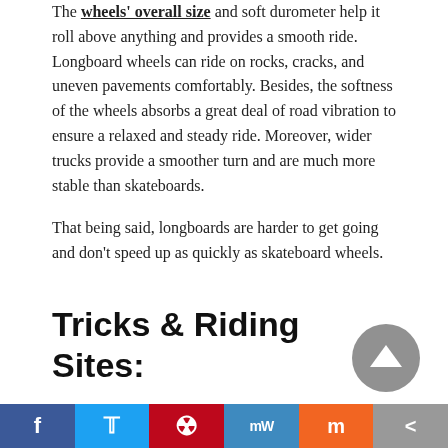The wheels' overall size and soft durometer help it roll above anything and provides a smooth ride. Longboard wheels can ride on rocks, cracks, and uneven pavements comfortably. Besides, the softness of the wheels absorbs a great deal of road vibration to ensure a relaxed and steady ride. Moreover, wider trucks provide a smoother turn and are much more stable than skateboards.
That being said, longboards are harder to get going and don't speed up as quickly as skateboard wheels.
Tricks & Riding Sites:
Besides the various shapes and styles of longboards and skateboards, users' preferences are also shaped by various